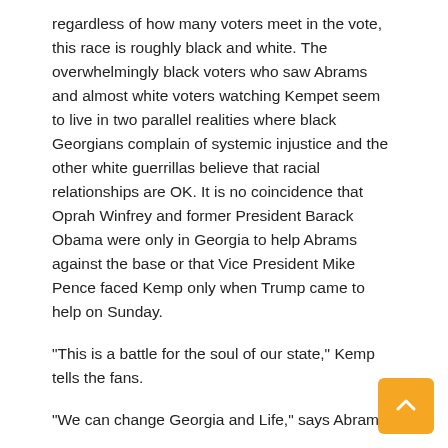regardless of how many voters meet in the vote, this race is roughly black and white. The overwhelmingly black voters who saw Abrams and almost white voters watching Kempet seem to live in two parallel realities where black Georgians complain of systemic injustice and the other white guerrillas believe that racial relationships are OK. It is no coincidence that Oprah Winfrey and former President Barack Obama were only in Georgia to help Abrams against the base or that Vice President Mike Pence faced Kemp only when Trump came to help on Sunday.
"This is a battle for the soul of our state," Kemp tells the fans.
"We can change Georgia and Life," says Abrams.
He feels that William Faulkner was half the better: the past is never dead, even if it really is past.
***
Gwendolyn Thompson was in sixth grade when you integrated the elementary school into Thomaston City, too young to understand the